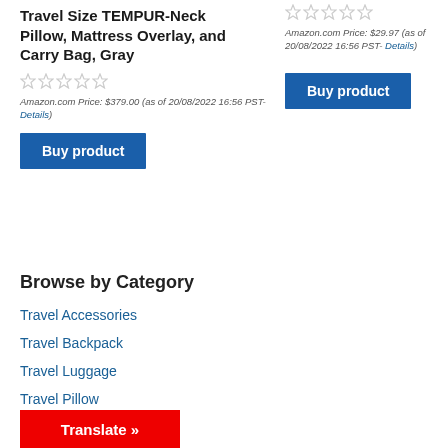Travel Size TEMPUR-Neck Pillow, Mattress Overlay, and Carry Bag, Gray
Amazon.com Price: $379.00 (as of 20/08/2022 16:56 PST- Details)
Buy product
Amazon.com Price: $29.97 (as of 20/08/2022 16:56 PST- Details)
Buy product
Browse by Category
Travel Accessories
Travel Backpack
Travel Luggage
Travel Pillow
Translate »